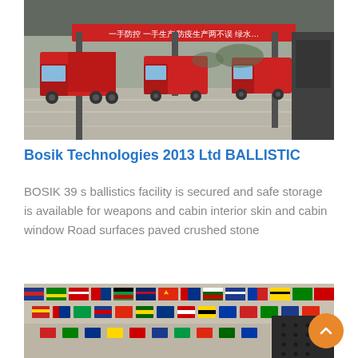[Figure (photo): Industrial facility with red dump trucks lined up on a concrete road surface under a large shed structure. A red banner with Chinese text is visible overhead. Industrial buildings in the background.]
Bosik Technologies 2013 Ltd BALLISTIC
BOSIK 39 s ballistics facility is secured and safe storage is available for weapons and cabin interior skin and cabin window Road surfaces paved crushed stone
[Figure (photo): Indoor venue or exhibition hall decorated with many colorful international flags hanging from the ceiling/structure. A dark perforated panel is visible on the right side.]